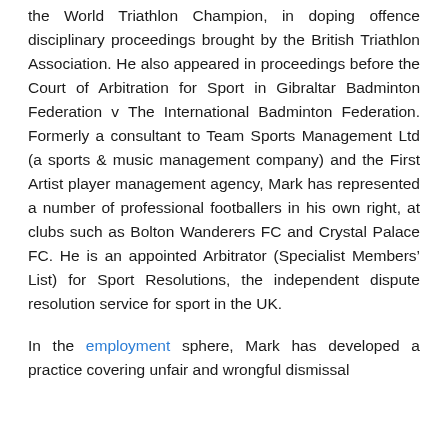the World Triathlon Champion, in doping offence disciplinary proceedings brought by the British Triathlon Association. He also appeared in proceedings before the Court of Arbitration for Sport in Gibraltar Badminton Federation v The International Badminton Federation. Formerly a consultant to Team Sports Management Ltd (a sports & music management company) and the First Artist player management agency, Mark has represented a number of professional footballers in his own right, at clubs such as Bolton Wanderers FC and Crystal Palace FC. He is an appointed Arbitrator (Specialist Members' List) for Sport Resolutions, the independent dispute resolution service for sport in the UK.
In the employment sphere, Mark has developed a practice covering unfair and wrongful dismissal